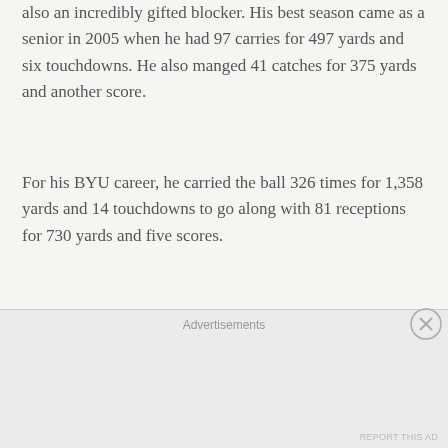also an incredibly gifted blocker. His best season came as a senior in 2005 when he had 97 carries for 497 yards and six touchdowns. He also manged 41 catches for 375 yards and another score.
For his BYU career, he carried the ball 326 times for 1,358 yards and 14 touchdowns to go along with 81 receptions for 730 yards and five scores.
Starter
Todd Christensen (1974–77)